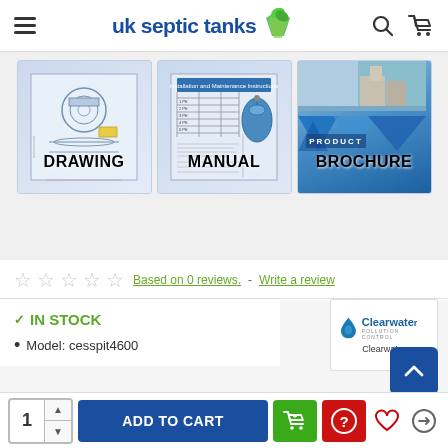uk septic tanks
[Figure (schematic): Three document thumbnails: DRAWING (technical blueprint of a septic tank), MANUAL (installation and maintenance instructions), BROCHURE (product brochure with photo of installation site)]
Based on 0 reviews. - Write a review
IN STOCK
Model: cesspit4600
[Figure (logo): Clearwater Pollution Control brand logo with blue droplet icon and company name]
Clearwater